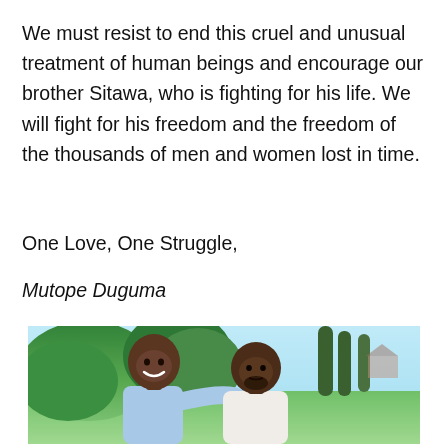We must resist to end this cruel and unusual treatment of human beings and encourage our brother Sitawa, who is fighting for his life. We will fight for his freedom and the freedom of the thousands of men and women lost in time.
One Love, One Struggle,
Mutope Duguma
[Figure (photo): Two Black men smiling and posing together in front of a painted or illustrated background depicting green trees and a park-like outdoor scene. The man on the left is wearing a light blue shirt and appears taller. The man on the right is wearing a white shirt.]